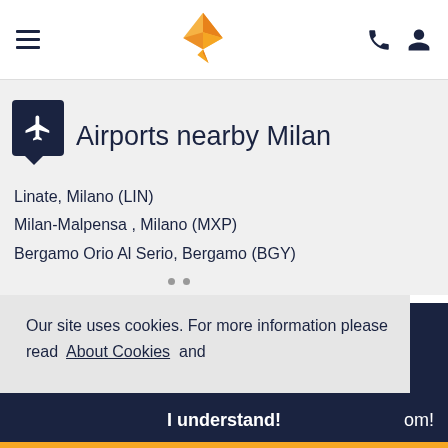Navigation header with hamburger menu, bird logo, phone and user icons
Airports nearby Milan
Linate, Milano (LIN)
Milan-Malpensa , Milano (MXP)
Bergamo Orio Al Serio, Bergamo (BGY)
Our site uses cookies. For more information please read About Cookies and Privacy policy
I understand!   om!